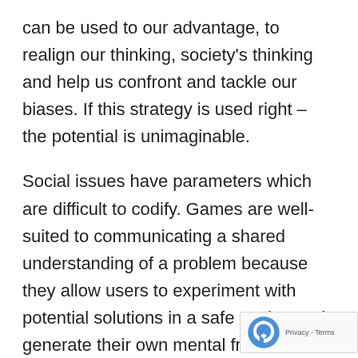can be used to our advantage, to realign our thinking, society's thinking and help us confront and tackle our biases. If this strategy is used right – the potential is unimaginable.
Social issues have parameters which are difficult to codify. Games are well-suited to communicating a shared understanding of a problem because they allow users to experiment with potential solutions in a safe setting and generate their own mental frames for how it works. This experiential framing by the user forms core beliefs about the issue. In turn multiple users form these frames on their ow